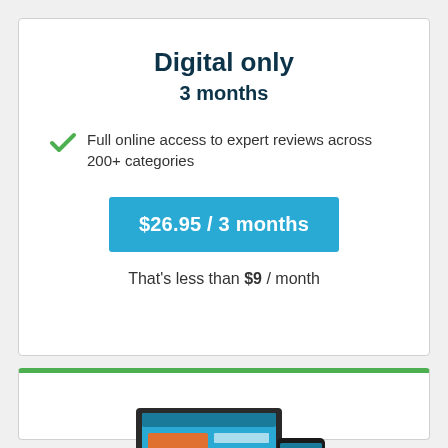Digital only
3 months
Full online access to expert reviews across 200+ categories
$26.95 / 3 months
That's less than $9 / month
[Figure (illustration): Laptop and smartphone showing a website interface]